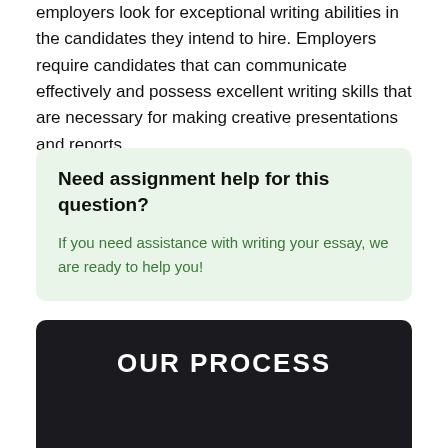employers look for exceptional writing abilities in the candidates they intend to hire. Employers require candidates that can communicate effectively and possess excellent writing skills that are necessary for making creative presentations and reports.
Need assignment help for this question?
If you need assistance with writing your essay, we are ready to help you!
[Figure (infographic): Dark section with 'OUR PROCESS' heading and partial circular diagram at the bottom]